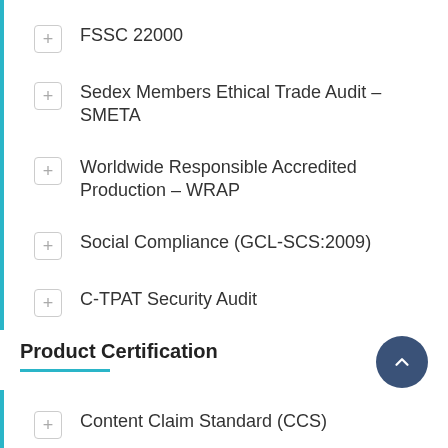+ FSSC 22000
+ Sedex Members Ethical Trade Audit – SMETA
+ Worldwide Responsible Accredited Production – WRAP
+ Social Compliance (GCL-SCS:2009)
+ C-TPAT Security Audit
Product Certification
+ Content Claim Standard (CCS)